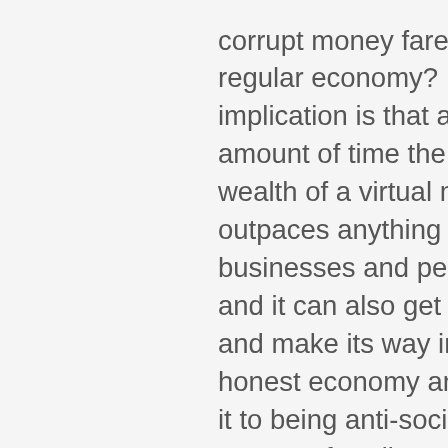corrupt money fares against the regular economy? My implication is that after a certain amount of time the power and wealth of a virtual mafia far outpaces anything honest businesses and people can do, and it can also get laundered and make its way into the honest economy and thus turn it to being anti-social. Is there any proof or disproof that something like this has happened? We all have heard about regulatory capture, but it seems to me that everything has been captured and has lost their basic nature, being instead turned into a facade for criminal enterprise that disempowers and takes more from citizens every year.
Thanks for so much information I get from Ralph and his guests and keep up the great